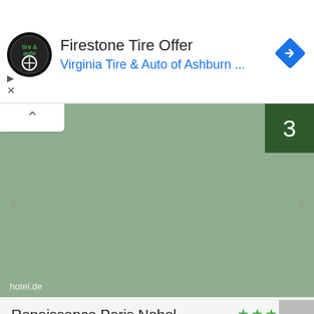[Figure (screenshot): Advertisement banner for Firestone Tire Offer from Virginia Tire & Auto of Ashburn, with circular logo and navigation icon]
[Figure (photo): Hotel image carousel placeholder with sage green background, showing image number 3, with navigation arrows and hotel.de watermark]
Renaissance Paris Nobel Tour Eiffel Hotel
Paris
[Figure (infographic): 4 green stars rating and 60% thumbs up approval rating]